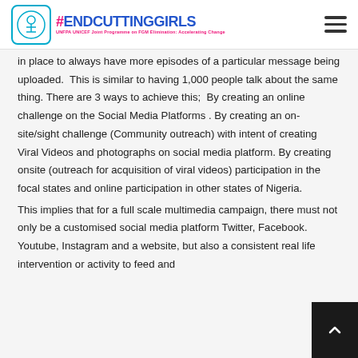#ENDCUTTINGGIRLS — UNFPA UNICEF Joint Programme on FGM Elimination: Accelerating Change
in place to always have more episodes of a particular message being uploaded.  This is similar to having 1,000 people talk about the same thing. There are 3 ways to achieve this;  By creating an online challenge on the Social Media Platforms . By creating an on-site/sight challenge (Community outreach) with intent of creating Viral Videos and photographs on social media platform. By creating onsite (outreach for acquisition of viral videos) participation in the focal states and online participation in other states of Nigeria.
This implies that for a full scale multimedia campaign, there must not only be a customised social media platform Twitter, Facebook. Youtube, Instagram and a website, but also a consistent real life intervention or activity to feed and